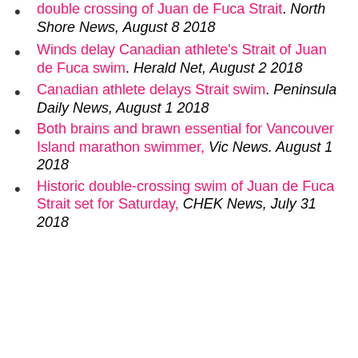double crossing of Juan de Fuca Strait. North Shore News, August 8 2018
Winds delay Canadian athlete’s Strait of Juan de Fuca swim. Herald Net, August 2 2018
Canadian athlete delays Strait swim. Peninsula Daily News, August 1 2018
Both brains and brawn essential for Vancouver Island marathon swimmer, Vic News. August 1 2018
Historic double-crossing swim of Juan de Fuca Strait set for Saturday, CHEK News, July 31 2018